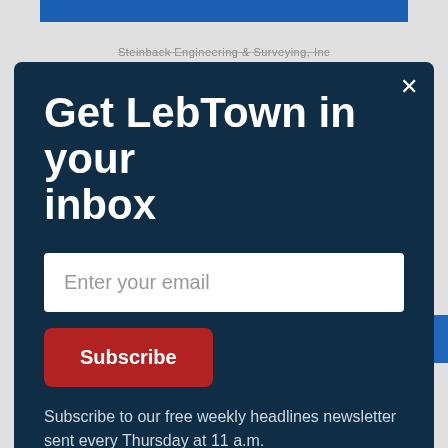[Figure (screenshot): Background website page with blue top bar, faint header text reading 'Steinback Engineering & Surveying, Inc', a HEALTH banner section at the bottom, and partially visible person images]
Get LebTown in your inbox
Enter your email
Subscribe
Subscribe to our free weekly headlines newsletter sent every Thursday at 11 a.m.